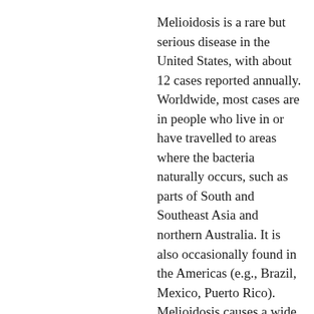Melioidosis is a rare but serious disease in the United States, with about 12 cases reported annually. Worldwide, most cases are in people who live in or have travelled to areas where the bacteria naturally occurs, such as parts of South and Southeast Asia and northern Australia. It is also occasionally found in the Americas (e.g., Brazil, Mexico, Puerto Rico). Melioidosis causes a wide range of symptoms that